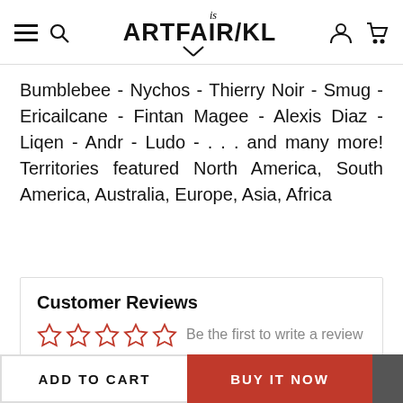is ARTFAIR/KL
Bumblebee - Nychos - Thierry Noir - Smug - Ericailcane - Fintan Magee - Alexis Diaz - Liqen - Andr - Ludo - . . . and many more! Territories featured North America, South America, Australia, Europe, Asia, Africa
Customer Reviews
Be the first to write a review
Write a review
ADD TO CART
BUY IT NOW